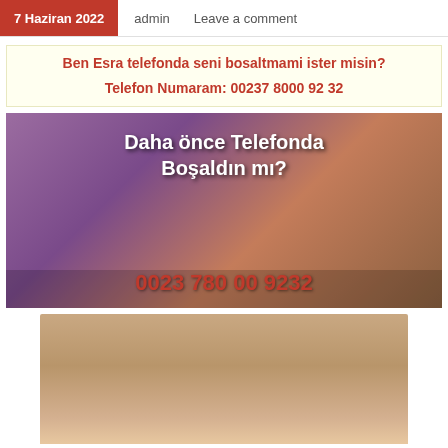7 Haziran 2022   admin   Leave a comment
Ben Esra telefonda seni bosaltmami ister misin?
Telefon Numaram: 00237 8000 92 32
[Figure (photo): Promotional image with text overlay 'Daha önce Telefonda Boşaldın mı?' and phone number '0023 780 00 9232']
[Figure (photo): Portrait photo of a person with brown hair]